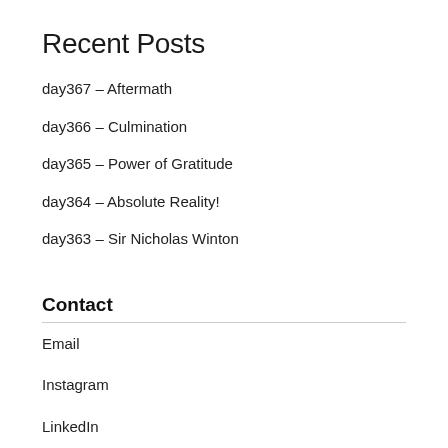Recent Posts
day367 – Aftermath
day366 – Culmination
day365 – Power of Gratitude
day364 – Absolute Reality!
day363 – Sir Nicholas Winton
Contact
Email
Instagram
LinkedIn